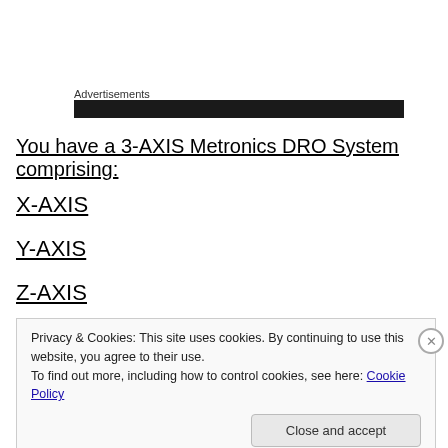Advertisements
You have a 3-AXIS Metronics DRO System comprising:
X-AXIS
Y-AXIS
Z-AXIS
Privacy & Cookies: This site uses cookies. By continuing to use this website, you agree to their use. To find out more, including how to control cookies, see here: Cookie Policy